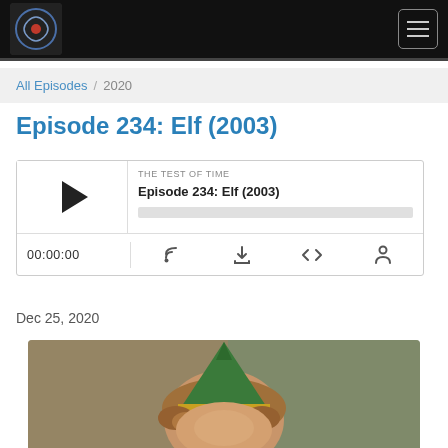The Test of Time podcast navigation header
All Episodes / 2020
Episode 234: Elf (2003)
[Figure (other): Podcast audio player widget showing episode 'Episode 234: Elf (2003)' from THE TEST OF TIME, with play button, progress bar, time display 00:00:00, and control icons for RSS, download, embed, and share]
Dec 25, 2020
[Figure (photo): Close-up photo of a person wearing a green and yellow elf hat with curly hair, blurred background]